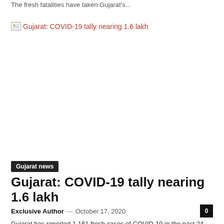The fresh fatalities have taken Gujarat's...
[Figure (photo): Broken image placeholder with alt text: Gujarat: COVID-19 tally nearing 1.6 lakh]
Gujarat news
Gujarat: COVID-19 tally nearing 1.6 lakh
Exclusive Author — October 17, 2020
Gujarat has reported 1,161 fresh cases of COVID-19 in the past 24